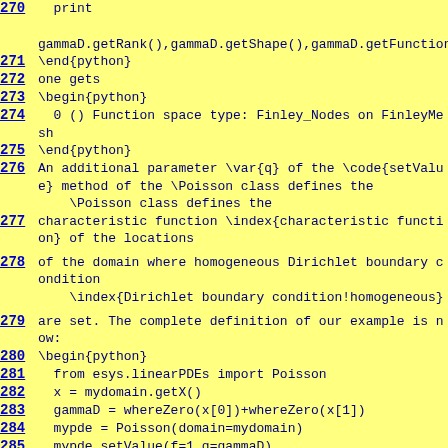270   print
    gammaD.getRank(),gammaD.getShape(),gammaD.getFunctionSpace
271 \end{python}
272 one gets
273 \begin{python}
274   0 () Function space type: Finley_Nodes on FinleyMesh
275 \end{python}
276 An additional parameter \var{q} of the \code{setValue} method of the \Poisson class defines the
277 characteristic function \index{characteristic function} of the locations
278 of the domain where homogeneous Dirichlet boundary condition \index{Dirichlet boundary condition!homogeneous}
279 are set. The complete definition of our example is now:
280 \begin{python}
281   from esys.linearPDEs import Poisson
282   x = mydomain.getX()
283   gammaD = whereZero(x[0])+whereZero(x[1])
284   mypde = Poisson(domain=mydomain)
285   mypde.setValue(f=1,q=gammaD)
286 \end{python}
287 The first statement imports the \Poisson class definition from the \linearPDEs module \escript package.
288 To get the solution of the Poisson equation defined by \var{mypde} we just have to call its \method{getSolution}.
289